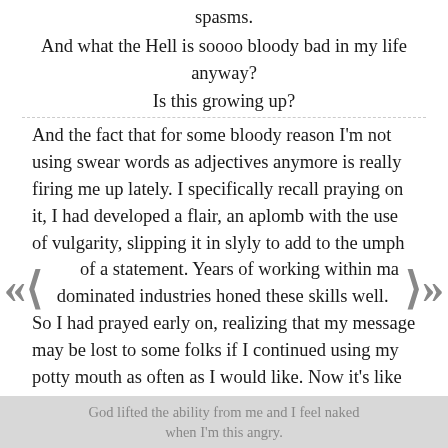spasms.
And what the Hell is soooo bloody bad in my life anyway?
Is this growing up?
And the fact that for some bloody reason I'm not using swear words as adjectives anymore is really firing me up lately. I specifically recall praying on it, I had developed a flair, an aplomb with the use of vulgarity, slipping it in slyly to add to the umph of a statement. Years of working within male dominated industries honed these skills well. So I had prayed early on, realizing that my message may be lost to some folks if I continued using my potty mouth as often as I would like. Now it's like I'm wearing an electric bark collar or something,
God lifted the ability from me and I feel naked when I'm this angry.